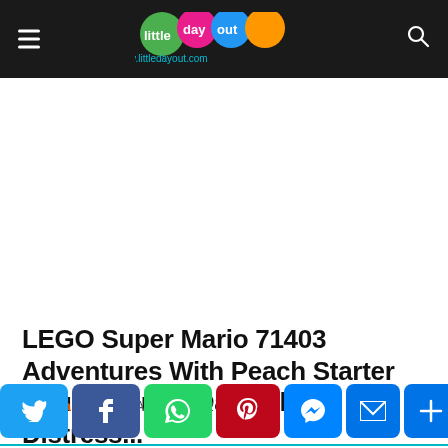little day out — www.littledayout.com
LEGO Super Mario 71403 Adventures With Peach Starter Course: From Damsel-In-Distress...
Joanna Xue · 12 August 2022
[Figure (other): Social sharing bar with Twitter, Facebook, WhatsApp, Pinterest, Messenger, Email, and More buttons]